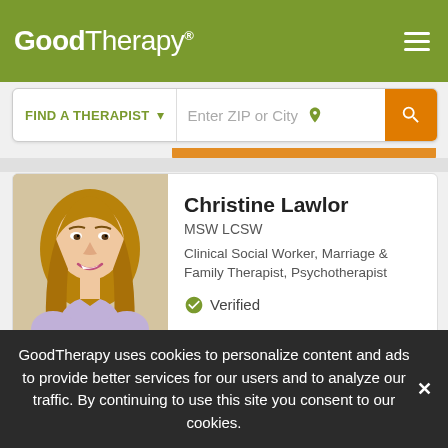GoodTherapy®
[Figure (screenshot): Search bar with 'FIND A THERAPIST' dropdown and 'Enter ZIP or City' input field with orange search button]
[Figure (photo): Profile photo of Christine Lawlor, a woman with long blonde hair, smiling, wearing a light purple top]
Christine Lawlor
MSW LCSW
Clinical Social Worker, Marriage & Family Therapist, Psychotherapist
✔ Verified
Darien , CT 06611
Everyone struggles with a variety of issues throughout their lives and
GoodTherapy uses cookies to personalize content and ads to provide better services for our users and to analyze our traffic. By continuing to use this site you consent to our cookies.